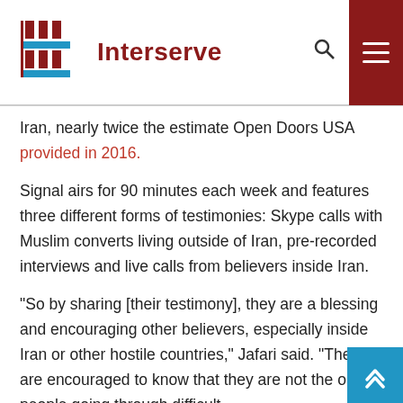Interserve
Iran, nearly twice the estimate Open Doors USA provided in 2016.
Signal airs for 90 minutes each week and features three different forms of testimonies: Skype calls with Muslim converts living outside of Iran, pre-recorded interviews and live calls from believers inside Iran.
“So by sharing [their testimony], they are a blessing and encouraging other believers, especially inside Iran or other hostile countries,” Jafari said. “They are encouraged to know that they are not the only people going through difficult... There are similar people in a similar situation. But they... a living hope that God is behind them and God is with them.”